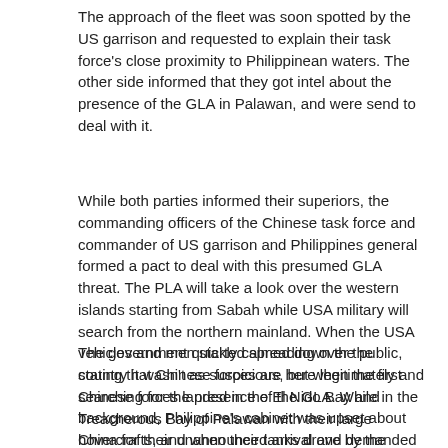The approach of the fleet was soon spotted by the US garrison and requested to explain their task force's close proximity to Philippinean waters. The other side informed that they got intel about the presence of the GLA in Palawan, and were send to deal with it.
While both parties informed their superiors, the commanding officers of the Chinese task force and commander of US garrison and Philippines general formed a pact to deal with this presumed GLA threat. The PLA will take a look over the western islands starting from Sabah while USA military will search from the northern mainland. When the USA vehicles and men started spreading over the country it wasn't as suspicious, but when the first Chinese forces landed in the El Nido Bay and Treacherous Bay of Palawan with their large hovercrafts, and when their tanks drove by the roads and cities, it caused a panic among the civilization, which was in great fear of an upcoming invasion from the Asian superpower.
The government quickly calmed down the public, stating that Chinese forces are here legitimately and searching for the presence of the GLA. While in the background, Philippine's cabinet was upset about China for their unannounced arrival and demanded their swift retreat, leaving the search up to the USA. General Leang have disclaimed that, saying that because of USA's incompetence the GLA would grow uncontrollable, and it is up to the PLA to do the job. As the Palawan island province